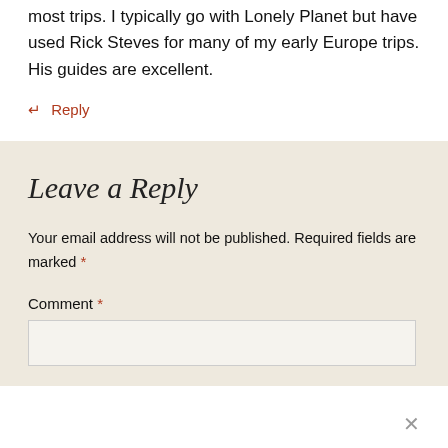most trips. I typically go with Lonely Planet but have used Rick Steves for many of my early Europe trips. His guides are excellent.
↵ Reply
Leave a Reply
Your email address will not be published. Required fields are marked *
Comment *